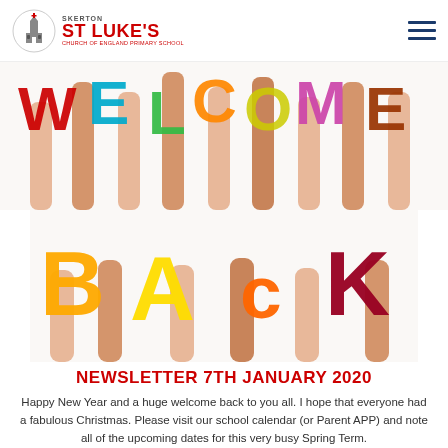Skerton St Luke's Church of England Primary School
[Figure (photo): Hands holding large colourful letters spelling WELCOME (partially visible, cropped at top)]
[Figure (photo): Hands holding large colourful letters spelling BACK]
NEWSLETTER 7TH JANUARY 2020
Happy New Year and a huge welcome back to you all. I hope that everyone had a fabulous Christmas. Please visit our school calendar (or Parent APP) and note all of the upcoming dates for this very busy Spring Term.